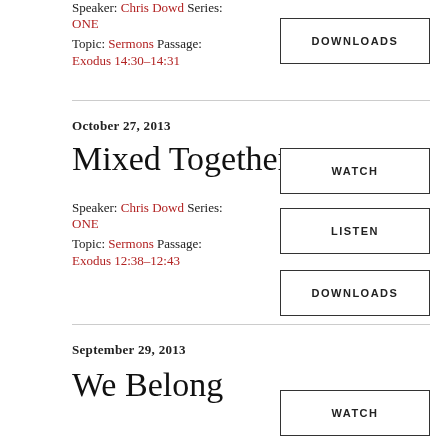Speaker: Chris Dowd Series: ONE
Topic: Sermons Passage:
Exodus 14:30–14:31
DOWNLOADS
October 27, 2013
Mixed Together
Speaker: Chris Dowd Series: ONE
Topic: Sermons Passage:
Exodus 12:38–12:43
WATCH
LISTEN
DOWNLOADS
September 29, 2013
We Belong
WATCH